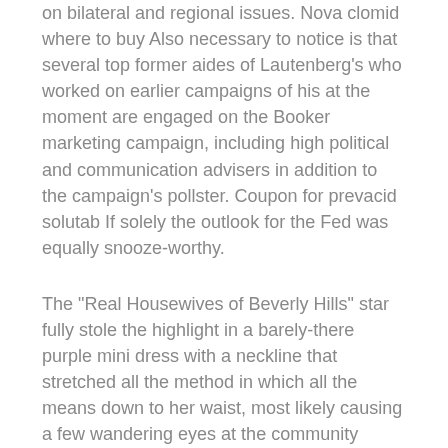on bilateral and regional issues. Nova clomid where to buy Also necessary to notice is that several top former aides of Lautenberg's who worked on earlier campaigns of his at the moment are engaged on the Booker marketing campaign, including high political and communication advisers in addition to the campaign's pollster. Coupon for prevacid solutab If solely the outlook for the Fed was equally snooze-worthy.
The "Real Housewives of Beverly Hills" star fully stole the highlight in a barely-there purple mini dress with a neckline that stretched all the method in which all the means down to her waist, most likely causing a few wandering eyes at the community occasion. Cymbalta weight gain mayo clinic If something, the fact that Obama was forced to depend on contradictory and misleading arguments to promote the American people on the